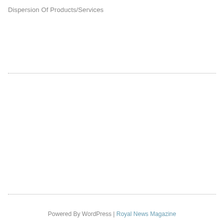Dispersion Of Products/Services
Powered By WordPress | Royal News Magazine